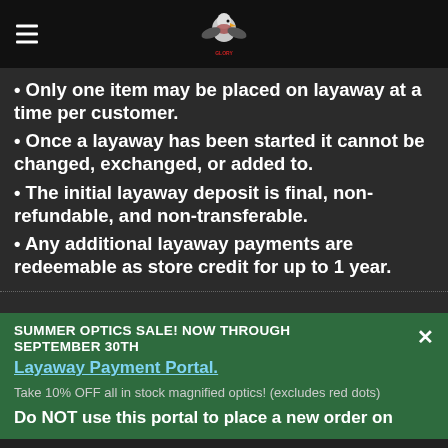Navigation bar with hamburger menu and eagle logo
• Only one item may be placed on layaway at a time per customer.
• Once a layaway has been started it cannot be changed, exchanged, or added to.
• The initial layaway deposit is final, non-refundable, and non-transferable.
• Any additional layaway payments are redeemable as store credit for up to 1 year.
SUMMER OPTICS SALE! NOW THROUGH SEPTEMBER 30TH
Layaway Payment Portal.
Take 10% OFF all in stock magnified optics! (excludes red dots)
Do NOT use this portal to place a new order on